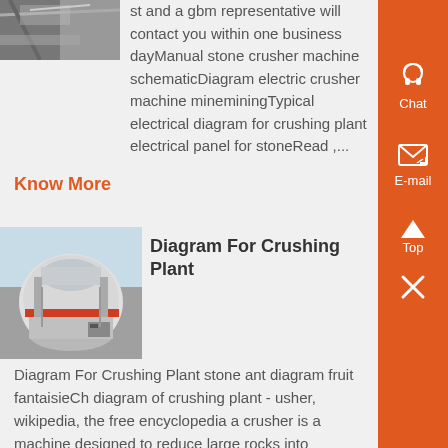[Figure (photo): Partial view of industrial stone crushing machinery or conveyor equipment, top-left corner]
st and a gbm representative will contact you within one business dayManual stone crusher machine schematicDiagram electric crusher machine mineminingTypical electrical diagram for crushing plant electrical panel for stoneRead ,...
Know More
Diagram For Crushing Plant
[Figure (photo): Large industrial cone crusher machine, white and grey metal, outdoor industrial setting]
Diagram For Crushing Plant stone ant diagram fruit fantaisieCh diagram of crushing plant - usher, wikipedia, the free encyclopedia a crusher is a machine designed to reduce large rocks into aggregate crushing plant schematic